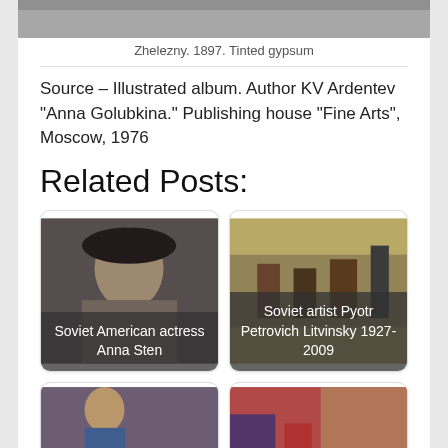Zhelezny. 1897. Tinted gypsum
Source – Illustrated album. Author KV Ardentev “Anna Golubkina.” Publishing house “Fine Arts”, Moscow, 1976
Related Posts:
[Figure (photo): Black and white portrait photo of a woman in profile wearing a wide-brimmed hat with caption 'Soviet American actress Anna Sten']
[Figure (photo): Colorful painting of Soviet people in winter scene with caption 'Soviet artist Pyotr Petrovich Litvinsky 1927-2009']
[Figure (photo): Colorful painting/portrait partially visible at bottom left]
[Figure (photo): Colorful painting/scene partially visible at bottom right]